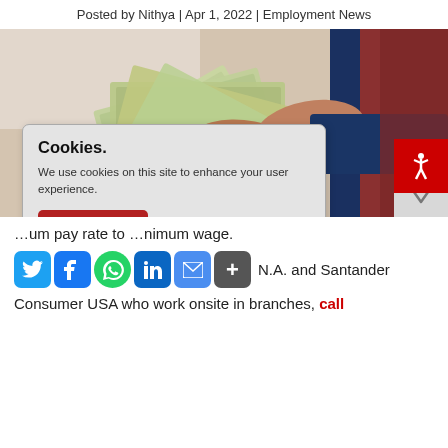Posted by Nithya | Apr 1, 2022 | Employment News
[Figure (photo): Hands counting US dollar bills, person in suit holding a stack of $100 bills]
Cookies. We use cookies on this site to enhance your user experience. [Understood button]
...um pay rate to ...nimum wage.
...mp...e...S...ur...B... N.A. and Santander Consumer USA who work onsite in branches, call